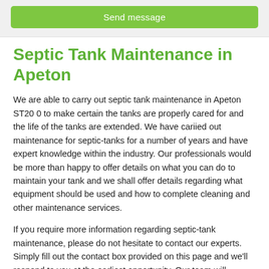[Figure (other): Green 'Send message' button on light grey background]
Septic Tank Maintenance in Apeton
We are able to carry out septic tank maintenance in Apeton ST20 0 to make certain the tanks are properly cared for and the life of the tanks are extended. We have cariied out maintenance for septic-tanks for a number of years and have expert knowledge within the industry. Our professionals would be more than happy to offer details on what you can do to maintain your tank and we shall offer details regarding what equipment should be used and how to complete cleaning and other maintenance services.
If you require more information regarding septic-tank maintenance, please do not hesitate to contact our experts. Simply fill out the contact box provided on this page and we'll respond to you at the earliest opportunity. Our team will answer any questions or queries that you have and provide further detail on how to maintain septic-tanks, so please speak to us today.